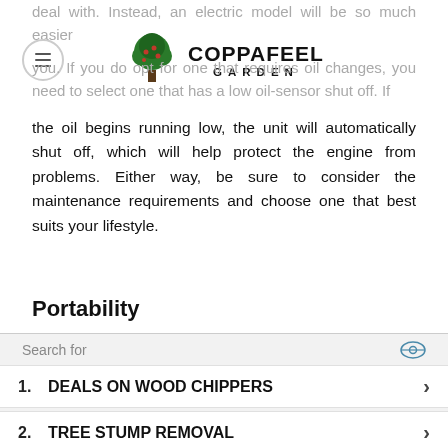deal with. Instead, an electric model will be so much easier to you. If you do opt for one that requires oil changes, you need to select one that has a low oil-sensor shut off. If the oil begins running low, the unit will automatically shut off, which will help protect the engine from problems. Either way, be sure to consider the maintenance requirements and choose one that best suits your lifestyle.
[Figure (logo): CoppaFeel Garden logo with tree icon]
Portability
[Figure (photo): Person in green t-shirt operating a wood chipper outdoors in a garden setting]
Search for
1. DEALS ON WOOD CHIPPERS
2. TREE STUMP REMOVAL